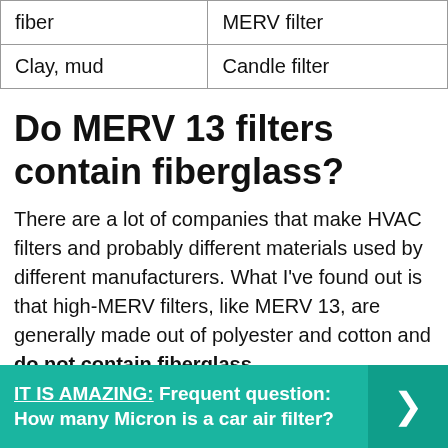| fiber | MERV filter |
| Clay, mud | Candle filter |
Do MERV 13 filters contain fiberglass?
There are a lot of companies that make HVAC filters and probably different materials used by different manufacturers. What I've found out is that high-MERV filters, like MERV 13, are generally made out of polyester and cotton and do not contain fiberglass.
IT IS AMAZING: Frequent question: How many Micron is a car air filter?